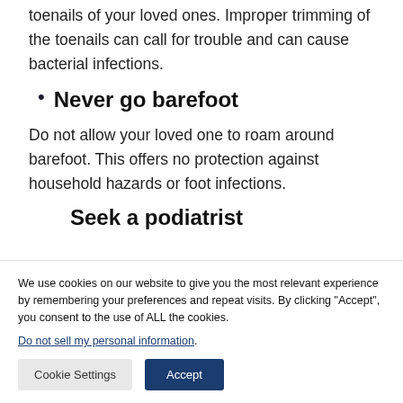You also need to be extra careful while cutting the toenails of your loved ones. Improper trimming of the toenails can call for trouble and can cause bacterial infections.
Never go barefoot
Do not allow your loved one to roam around barefoot. This offers no protection against household hazards or foot infections.
Seek a podiatrist
We use cookies on our website to give you the most relevant experience by remembering your preferences and repeat visits. By clicking “Accept”, you consent to the use of ALL the cookies.
Do not sell my personal information.